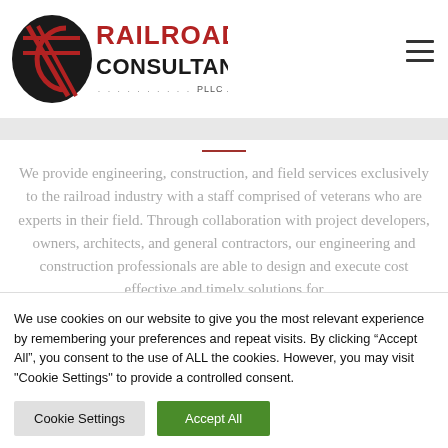[Figure (logo): Railroad Consultants PLLC logo with stylized R and C emblem in black and red, text in black and red]
We provide engineering, construction, and field services exclusively to the railroad industry with a staff comprised of veterans who are experts in their field. Through collaboration with project developers, owners, architects, and general contractors, our engineering and construction professionals are able to design and execute cost effective and timely solutions for
We use cookies on our website to give you the most relevant experience by remembering your preferences and repeat visits. By clicking “Accept All”, you consent to the use of ALL the cookies. However, you may visit "Cookie Settings" to provide a controlled consent.